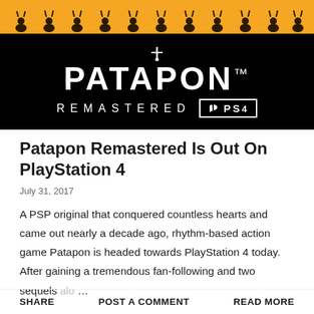[Figure (illustration): Patapon Remastered promotional banner image. Orange top section with small creature silhouettes, black lower section with white PATAPON logo in stylized font, 'REMASTERED' text with PS4 badge.]
Patapon Remastered Is Out On PlayStation 4
July 31, 2017
A PSP original that conquered countless hearts and came out nearly a decade ago, rhythm-based action game Patapon is headed towards PlayStation 4 today. After gaining a tremendous fan-following and two sequels alo …
SHARE   POST A COMMENT   READ MORE